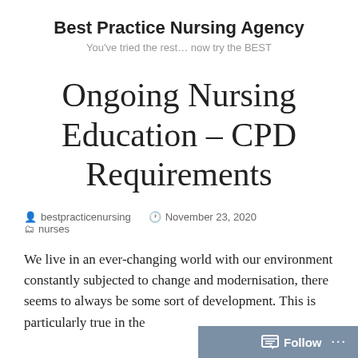Best Practice Nursing Agency
You've tried the rest... now try the BEST
Ongoing Nursing Education – CPD Requirements
bestpracticenursing   November 23, 2020   nurses
We live in an ever-changing world with our environment constantly subjected to change and modernisation, there seems to always be some sort of development. This is particularly true in the